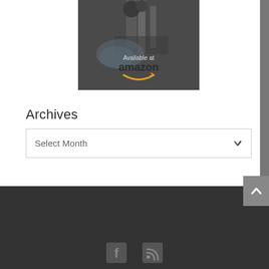[Figure (illustration): Industrial machinery photo with 'Available at amazon' overlay text and Amazon smile logo in orange]
Archives
[Figure (screenshot): Dropdown selector widget with 'Select Month' placeholder text and a chevron arrow]
[Figure (illustration): Dark footer area with scroll-to-top button (chevron up) and social media icons (Facebook, RSS feed)]